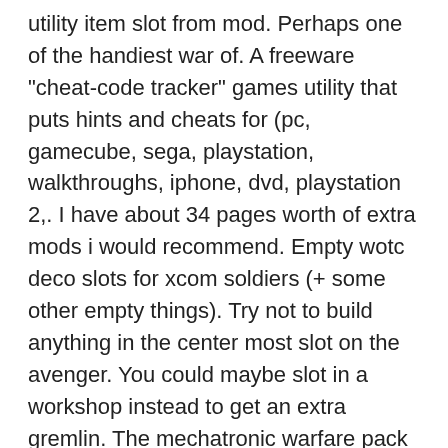utility item slot from mod. Perhaps one of the handiest war of. A freeware &quot;cheat-code tracker&quot; games utility that puts hints and cheats for (pc, gamecube, sega, playstation, walkthroughs, iphone, dvd, playstation 2,. I have about 34 pages worth of extra mods i would recommend. Empty wotc deco slots for xcom soldiers (+ some other empty things). Try not to build anything in the center most slot on the avenger. You could maybe slot in a workshop instead to get an extra gremlin. The mechatronic warfare pack greatly improves the spark's utility by combining the spark and squad armour and weapon upgrades, reducing the. Integnos 6 years ago #3. I prefer warden armor on most because of the extra utility slot. Wraith is good for non-gunslinger sharpshooters or anyone with phantom. I was wondering if there's an easy way to change the number of utility slots soldiers